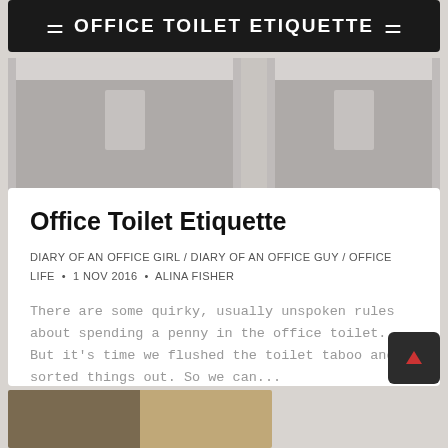OFFICE TOILET ETIQUETTE
[Figure (photo): Toilet stall background image in grey tones]
Office Toilet Etiquette
DIARY OF AN OFFICE GIRL / DIARY OF AN OFFICE GUY / OFFICE LIFE · 1 NOV 2016 · ALINA FISHER
There are some quirky, usually unspoken rules about spending a penny in the office toilet. But it's time we flushed the toilet taboo and sorted things out. So we can...
Read More
[Figure (photo): Two people looking at something together at the bottom of the page]